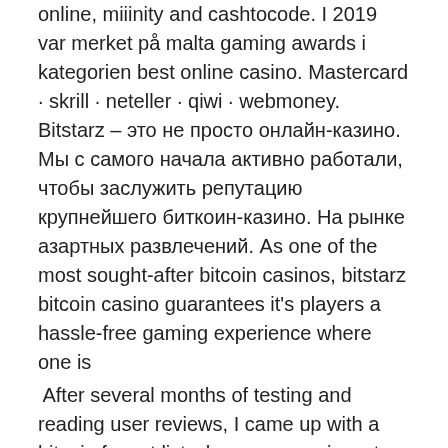online, miiinity and cashtocode. I 2019 var merket på malta gaming awards i kategorien best online casino. Mastercard · skrill · neteller · qiwi · webmoney. Bitstarz – это не просто онлайн-казино. Мы с самого начала активно работали, чтобы заслужить репутацию крупнейшего биткоин-казино. На рынке азартных развлечений. As one of the most sought-after bitcoin casinos, bitstarz bitcoin casino guarantees it's players a hassle-free gaming experience where one is
After several months of testing and reading user reviews, I came up with a bitcoin faucet list where you can invest your time, . When we make a list of highest paying bitcoin faucets working today, we cannot forget to include the name of Coinpayu because it is one of the best bitcoin faucets available today that lets you earn free bitcoin. Coinpayu is basically a free rewards platform where you can earn bitcoin by viewing